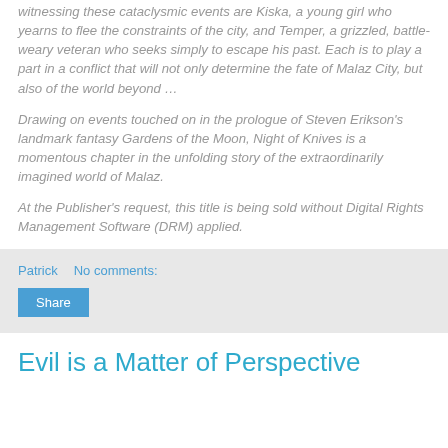witnessing these cataclysmic events are Kiska, a young girl who yearns to flee the constraints of the city, and Temper, a grizzled, battle-weary veteran who seeks simply to escape his past. Each is to play a part in a conflict that will not only determine the fate of Malaz City, but also of the world beyond …
Drawing on events touched on in the prologue of Steven Erikson's landmark fantasy Gardens of the Moon, Night of Knives is a momentous chapter in the unfolding story of the extraordinarily imagined world of Malaz.
At the Publisher's request, this title is being sold without Digital Rights Management Software (DRM) applied.
Patrick   No comments:
Share
Evil is a Matter of Perspective